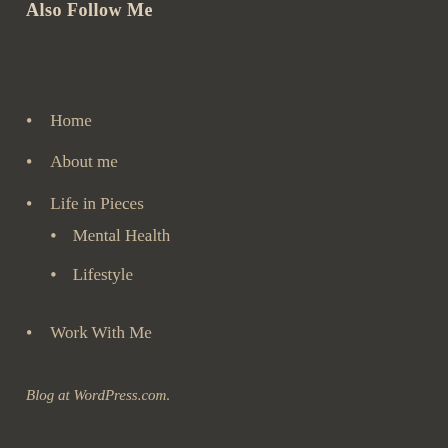Also Follow Me
Home
About me
Life in Pieces
Mental Health
Lifestyle
Work With Me
Blog at WordPress.com.